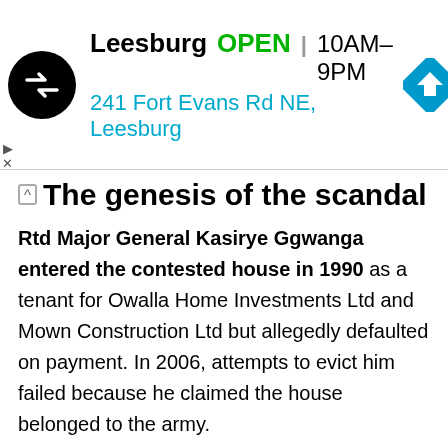[Figure (other): Advertisement banner for a store in Leesburg. Shows a circular black logo with a swap/exchange icon, store name 'Leesburg', status 'OPEN', hours '10AM–9PM', address '241 Fort Evans Rd NE, Leesburg', and a blue diamond navigation icon.]
The genesis of the scandal
Rtd Major General Kasirye Ggwanga entered the contested house in 1990 as a tenant for Owalla Home Investments Ltd and Mown Construction Ltd but allegedly defaulted on payment. In 2006, attempts to evict him failed because he claimed the house belonged to the army.
However, in his dated June 21 2013, Maj. Gen Wilson Mbadi, the UPDF joint chief of staff, denied